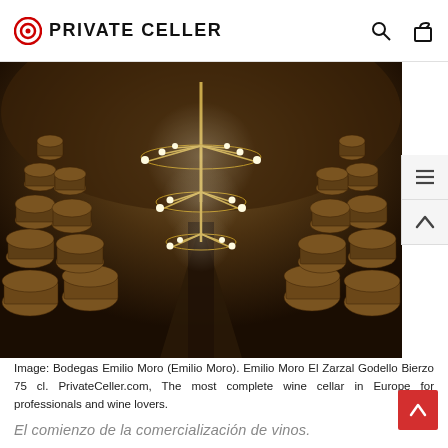PRIVATE CELLER
[Figure (photo): Interior of a wine cellar (Bodegas Emilio Moro) with rows of oak barrels stacked high on both sides and an ornate chandelier hanging from the vaulted ceiling, dramatically lit]
Image: Bodegas Emilio Moro (Emilio Moro). Emilio Moro El Zarzal Godello Bierzo 75 cl. PrivateCeller.com, The most complete wine cellar in Europe for professionals and wine lovers.
El comienzo de la comercialización de vinos.